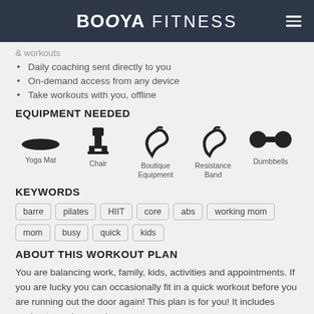BOOYA FITNESS
& workouts
Daily coaching sent directly to you
On-demand access from any device
Take workouts with you, offline
EQUIPMENT NEEDED
[Figure (infographic): Icons for equipment needed: Yoga Mat, Chair, Boutique Equipment, Resistance Band, Dumbbells]
KEYWORDS
barre  pilates  HIIT  core  abs  working mom  mom  busy  quick  kids
ABOUT THIS WORKOUT PLAN
You are balancing work, family, kids, activities and appointments. If you are lucky you can occasionally fit in a quick workout before you are running out the door again! This plan is for you! It includes workouts, recipes and